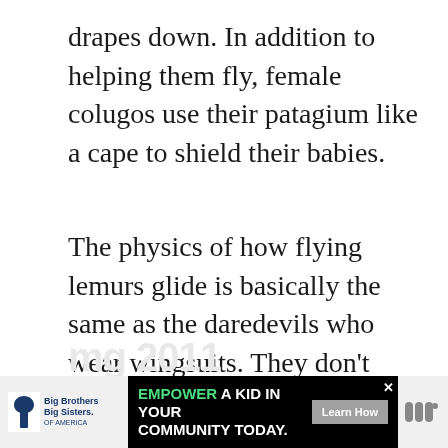drapes down. In addition to helping them fly, female colugos use their patagium like a cape to shield their babies.
The physics of how flying lemurs glide is basically the same as the daredevils who wear wingsuits. They don't actually fly by flapping their wings; instead they sail through the air. Here's a video from aYpochify to illustrate. (Don't try this at home!)
[Figure (other): Advertisement banner: Big Brothers Big Sisters logo on left, black ad panel reading 'EMPOWER A KID IN YOUR COMMUNITY TODAY.' with green Learn How button, and a logo on the right]